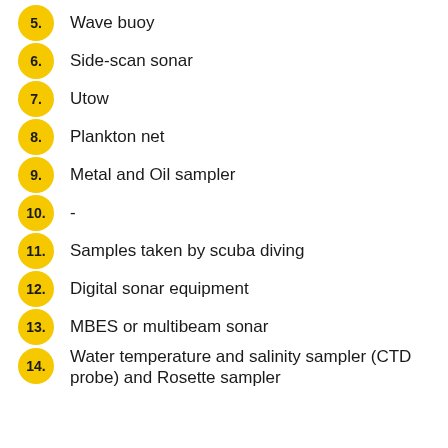5. Wave buoy
6. Side-scan sonar
7. Utow
8. Plankton net
9. Metal and Oil sampler
10. -
11. Samples taken by scuba diving
12. Digital sonar equipment
13. MBES or multibeam sonar
14. Water temperature and salinity sampler (CTD probe) and Rosette sampler